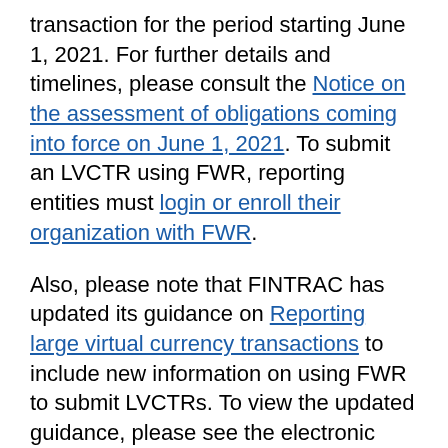transaction for the period starting June 1, 2021. For further details and timelines, please consult the Notice on the assessment of obligations coming into force on June 1, 2021. To submit an LVCTR using FWR, reporting entities must login or enroll their organization with FWR.
Also, please note that FINTRAC has updated its guidance on Reporting large virtual currency transactions to include new information on using FWR to submit LVCTRs. To view the updated guidance, please see the electronic reporting information by button. Still under development.